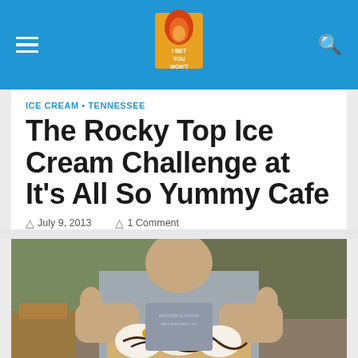I Bet You Won't — site header with navigation
ICE CREAM • TENNESSEE
The Rocky Top Ice Cream Challenge at It's All So Yummy Cafe
July 9, 2013   1 Comment
[Figure (photo): Man in a gray t-shirt giving two thumbs up behind a large ice cream sundae dessert with chocolate sauce, whipped cream, and toppings.]